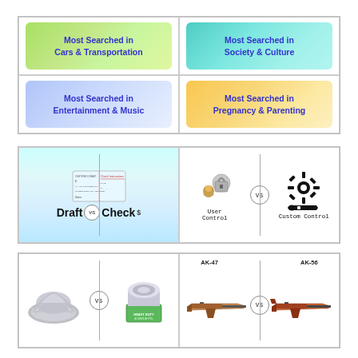[Figure (infographic): 2x2 grid of colored banners: Most Searched in Cars & Transportation (green), Most Searched in Society & Culture (teal), Most Searched in Entertainment & Music (purple), Most Searched in Pregnancy & Parenting (orange)]
[Figure (infographic): 2x2 grid of comparison images: Draft vs Check (financial documents), User Control vs Custom Control (icons), foil roll vs packaged foil, AK-47 vs AK-56 rifles]
[Figure (infographic): AK-47 vs AK-56 comparison with labels]